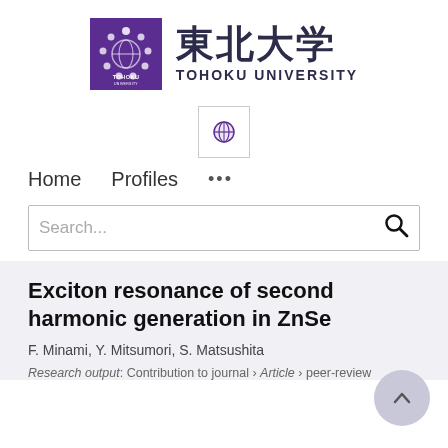[Figure (logo): Tohoku University logo: purple square with white circular emblem, beside Japanese kanji 東北大学 and text TOHOKU UNIVERSITY]
[Figure (logo): Small globe icon in a bordered square, representing internationalization/language toggle]
Home   Profiles   ...
Search...
Exciton resonance of second harmonic generation in ZnSe
F. Minami, Y. Mitsumori, S. Matsushita
Research output: Contribution to journal › Article › peer-review